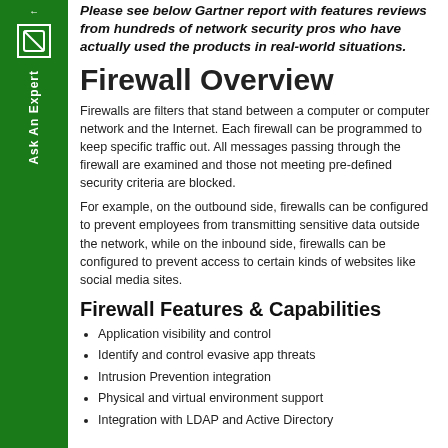Please see below Gartner report with features reviews from hundreds of network security pros who have actually used the products in real-world situations.
Firewall Overview
Firewalls are filters that stand between a computer or computer network and the Internet. Each firewall can be programmed to keep specific traffic out. All messages passing through the firewall are examined and those not meeting pre-defined security criteria are blocked.
For example, on the outbound side, firewalls can be configured to prevent employees from transmitting sensitive data outside the network, while on the inbound side, firewalls can be configured to prevent access to certain kinds of websites like social media sites.
Firewall Features & Capabilities
Application visibility and control
Identify and control evasive app threats
Intrusion Prevention integration
Physical and virtual environment support
Integration with LDAP and Active Directory